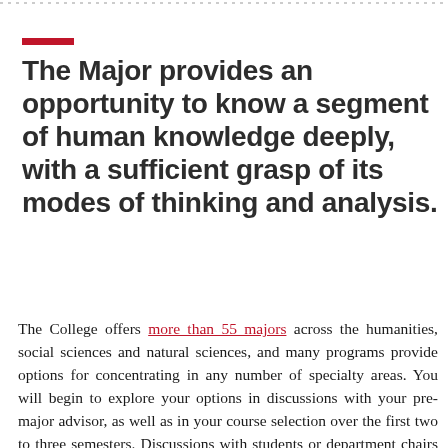The Major provides an opportunity to know a segment of human knowledge deeply, with a sufficient grasp of its modes of thinking and analysis.
The College offers more than 55 majors across the humanities, social sciences and natural sciences, and many programs provide options for concentrating in any number of specialty areas. You will begin to explore your options in discussions with your pre-major advisor, as well as in your course selection over the first two to three semesters. Discussions with students or department chairs within majors will also inform your choices before you declare a major in the end of your second year.